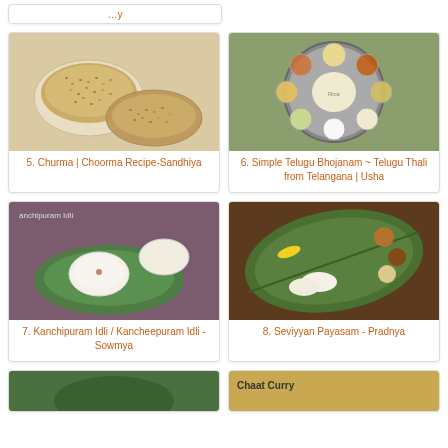[Figure (photo): Partial top card showing cut-off text]
[Figure (photo): Churma / Choorma Recipe - bowl of granular Indian sweet dish]
5. Churma | Choorma Recipe-Sandhiya
[Figure (photo): Simple Telugu Bhojanam - Telugu Thali with multiple dishes on a plate]
6. Simple Telugu Bhojanam ~ Telugu Thali from Telangana | Usha
[Figure (photo): Kanchipuram Idli / Kancheepuram Idli on a banana leaf with white sauce]
7. Kanchipuram Idli / Kancheepuram Idli - Sowmya
[Figure (photo): Seviyyan Payasam served on a banana leaf spread on wooden table]
8. Seviyyan Payasam - Pradnya
[Figure (photo): Partial bottom-left card showing green food photo]
[Figure (photo): Partial bottom-right card showing Chaat Curry text and food]